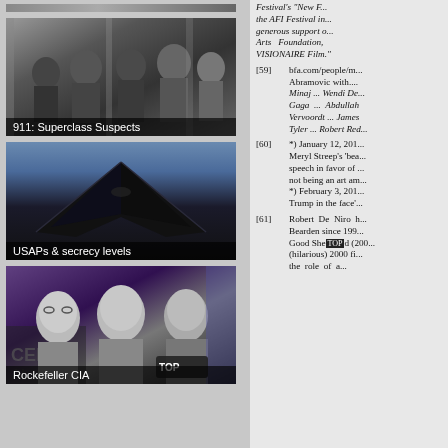[Figure (photo): Black and white photograph of a group of men in suits standing with flags in the background, captioned '911: Superclass Suspects']
[Figure (photo): Photograph of a stealth aircraft (F-117 style) against a blue-grey sky, captioned 'USAPs & secrecy levels']
[Figure (photo): Black and white photograph of three men, with CIA/Central Intelligence Agency banner visible in background, captioned 'Rockefeller CIA']
Festival's "New F... the AFI Festival in... generous support o... Arts Foundation, VISIONAIRE Film."
[59] bfa.com/people/m... Abramovic with.... Minaj ... Wendi De... Gaga ... Abdullah Vervoordt ... James Tyler ... Robert Red...
[60] *) January 12, 201... Meryl Streep's 'bea... speech in favor of ... not being an art am... *) February 3, 201... Trump in the face'...
[61] Robert De Niro h... Bearden since 199... Good Shepherd (200... (hilarious) 2000 fi... the role of a...